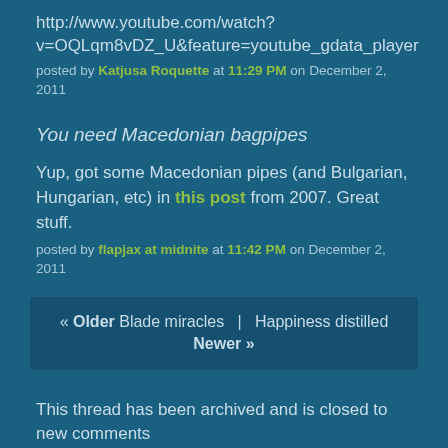http://www.youtube.com/watch?v=OQLqm8vDZ_U&feature=youtube_gdata_player
posted by Katjusa Roquette at 11:29 PM on December 2, 2011
You need Macedonian bagpipes
Yup, got some Macedonian pipes (and Bulgarian, Hungarian, etc) in this post from 2007. Great stuff.
posted by flapjax at midnite at 11:42 PM on December 2, 2011
« Older Blade miracles  |  Happiness distilled Newer »
This thread has been archived and is closed to new comments